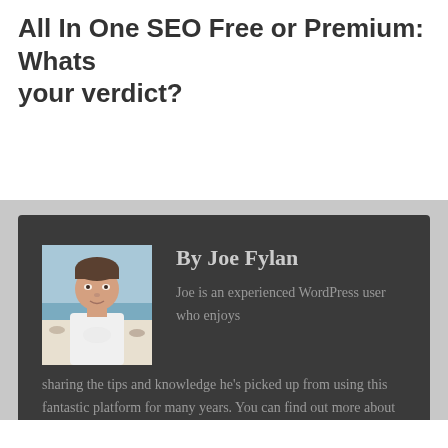All In One SEO Free or Premium: Whats your verdict?
[Figure (photo): Author photo of Joe Fylan: a man with short hair wearing a white t-shirt, with a beach/sea background]
By Joe Fylan

Joe is an experienced WordPress user who enjoys sharing the tips and knowledge he's picked up from using this fantastic platform for many years. You can find out more about Joe on his website.